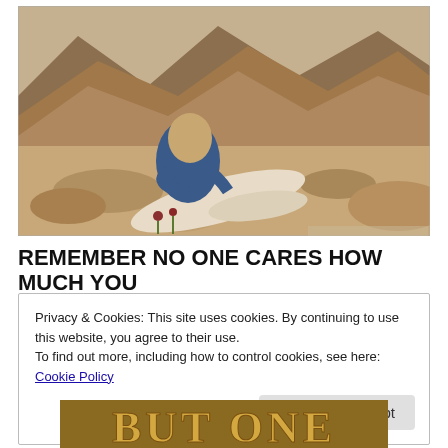[Figure (illustration): Painting depicting the Good Samaritan: a man in blue clothing kneeling over an injured man lying on rocks in a desert landscape with rocky mountains in the background]
REMEMBER NO ONE CARES HOW MUCH YOU
Privacy & Cookies: This site uses cookies. By continuing to use this website, you agree to their use.
To find out more, including how to control cookies, see here: Cookie Policy
Close and accept
[Figure (other): Partial bottom strip showing large bold ornate text 'BUT ONE' in golden/brown lettering on a textured background]